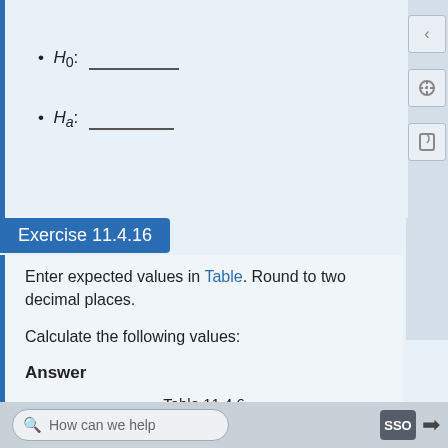H_0: ________
H_a: ________
Exercise 11.4.16
Enter expected values in Table. Round to two decimal places.
Calculate the following values:
Answer
Table 11.4.6
| Smoking Leve... |  |
| --- | --- |
|  | 1 |
|  | - |
|  | 1 |